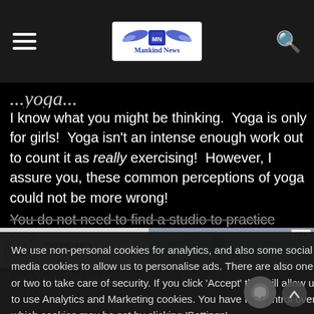Mankind News
...yoga...
I know what you might be thinking.  Yoga is only for girls!  Yoga isn't an intense enough work out to count it as really exercising!  However, I assure you, these common perceptions of yoga could not be more wrong!
You do not need to find a studio to practice yoga.  You don't...
[Figure (screenshot): Advertisement banner for Physician's Surrogacy showing logo and photo of family]
We use non-personal cookies for analytics, and also some social media cookies to allow us to personalise ads. There are also one or two to take care of security. If you click 'Accept' this will allow us to use Analytics and Marketing cookies. You have full control over which cookies may be set by clicking 'Settings'.
Find Your Perfect Surrogate   Injury   Physician's Surrogacy   Yahoo Search